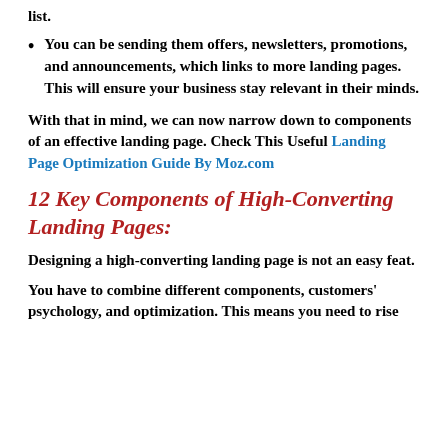list.
You can be sending them offers, newsletters, promotions, and announcements, which links to more landing pages. This will ensure your business stay relevant in their minds.
With that in mind, we can now narrow down to components of an effective landing page. Check This Useful Landing Page Optimization Guide By Moz.com
12 Key Components of High-Converting Landing Pages:
Designing a high-converting landing page is not an easy feat.
You have to combine different components, customers' psychology, and optimization. This means you need to rise